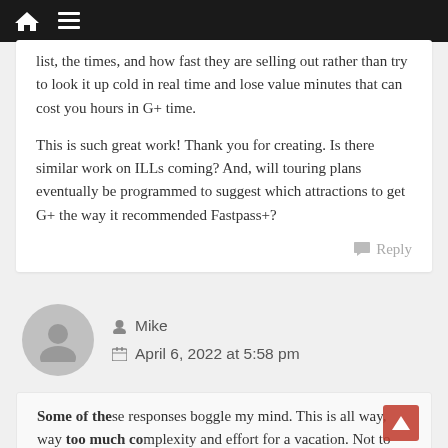Navigation bar with home and menu icons
list, the times, and how fast they are selling out rather than try to look it up cold in real time and lose value minutes that can cost you hours in G+ time.
This is such great work! Thank you for creating. Is there similar work on ILLs coming? And, will touring plans eventually be programmed to suggest which attractions to get G+ the way it recommended Fastpass+?
Reply
Mike
April 6, 2022 at 5:58 pm
Some of these responses boggle my mind. This is all way, way too much complexity and effort for a vacation. Not to mention